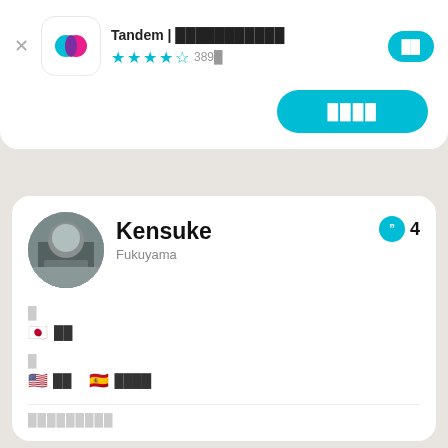Tandem | ░░░░░░░░░░░ ★★★★☆ 389░
░░ (install button)
░░░░ (large install button)
Kensuke
Fukuyama
4
░
🇯🇵 ░░
░
🇺🇸 ░░  🇪🇸 ░░░░
░░░░░░░░░